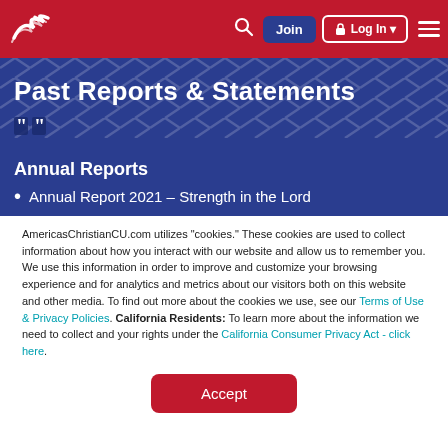Navigation bar with logo, search, Join, Log In, and menu
Past Reports & Statements
Annual Reports
Annual Report 2021 – Strength in the Lord
AmericasChristianCU.com utilizes "cookies." These cookies are used to collect information about how you interact with our website and allow us to remember you. We use this information in order to improve and customize your browsing experience and for analytics and metrics about our visitors both on this website and other media. To find out more about the cookies we use, see our Terms of Use & Privacy Policies. California Residents: To learn more about the information we need to collect and your rights under the California Consumer Privacy Act - click here.
Accept